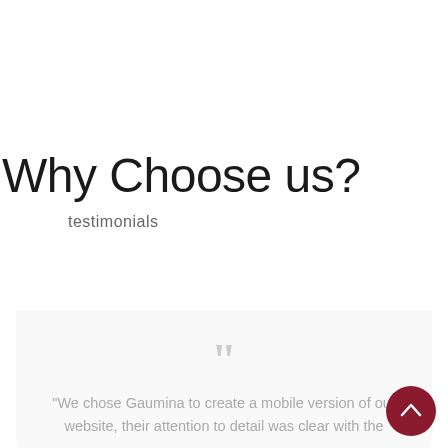Why Choose us?
testimonials
[Figure (illustration): Testimonial card with large grey quotation marks and testimonial text beginning: "We chose Gaumina to create a mobile version of our website, their attention to detail was clear with the]
[Figure (other): Dark red circular scroll-to-top button with upward chevron arrow in the bottom-right corner]